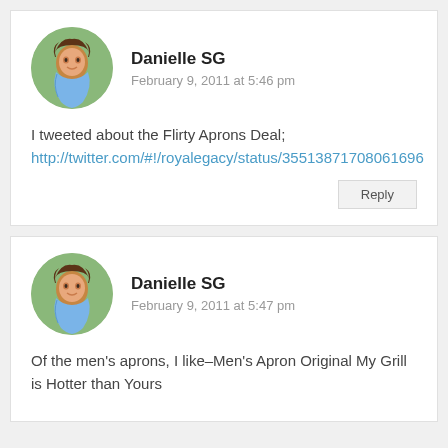Danielle SG
February 9, 2011 at 5:46 pm
I tweeted about the Flirty Aprons Deal; http://twitter.com/#!/royalegacy/status/35513871708061696
Reply
Danielle SG
February 9, 2011 at 5:47 pm
Of the men's aprons, I like–Men's Apron Original My Grill is Hotter than Yours